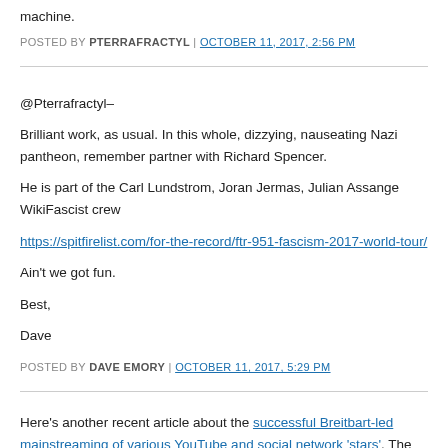machine.
POSTED BY PTERRAFRACTYL | OCTOBER 11, 2017, 2:56 PM
@Pterrafractyl–

Brilliant work, as usual. In this whole, dizzying, nauseating Nazi pantheon, remember partner with Richard Spencer.

He is part of the Carl Lundstrom, Joran Jermas, Julian Assange WikiFascist crew

https://spitfirelist.com/for-the-record/ftr-951-fascism-2017-world-tour/

Ain't we got fun.

Best,

Dave
POSTED BY DAVE EMORY | OCTOBER 11, 2017, 5:29 PM
Here's another recent article about the successful Breitbart-led mainstreaming of various YouTube and social network 'stars'. The article is about Patrik Hermanss racist "Hope Not Hate", who went undercover in September or 2016, infiltrating the US and UK.